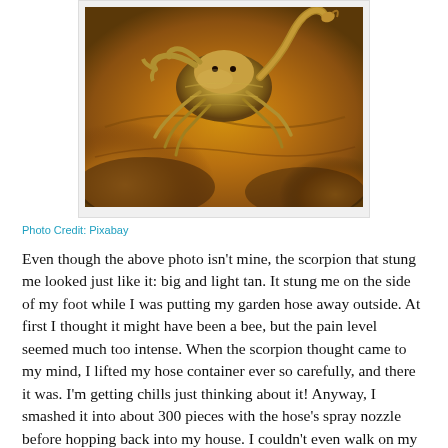[Figure (photo): Close-up photo of a large light tan/golden scorpion on orange-brown rocky/sandy surface, viewed from above and slightly to the side.]
Photo Credit: Pixabay
Even though the above photo isn't mine, the scorpion that stung me looked just like it: big and light tan. It stung me on the side of my foot while I was putting my garden hose away outside. At first I thought it might have been a bee, but the pain level seemed much too intense. When the scorpion thought came to my mind, I lifted my hose container ever so carefully, and there it was. I'm getting chills just thinking about it! Anyway, I smashed it into about 300 pieces with the hose's spray nozzle before hopping back into my house. I couldn't even walk on my foot, and the pain/pins and needles felt horrible. What made the whole episode even worse was the fact that it happened just a couple of hours before my hubby and daughter came home with a new,